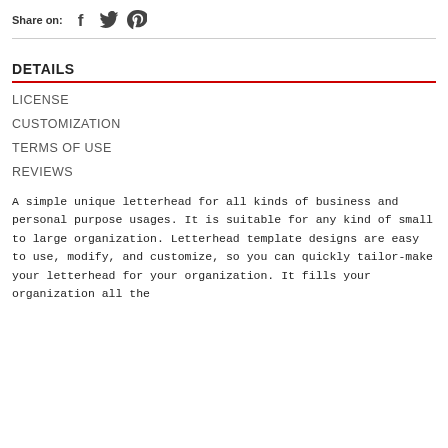Share on:
DETAILS
LICENSE
CUSTOMIZATION
TERMS OF USE
REVIEWS
A simple unique letterhead for all kinds of business and personal purpose usages. It is suitable for any kind of small to large organization. Letterhead template designs are easy to use, modify, and customize, so you can quickly tailor-make your letterhead for your organization. It fills your organization all the...